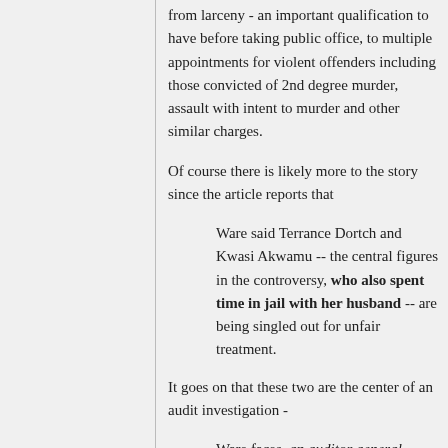from larceny - an important qualification to have before taking public office, to multiple appointments for violent offenders including those convicted of 2nd degree murder, assault with intent to murder and other similar charges.
Of course there is likely more to the story since the article reports that
Ware said Terrance Dortch and Kwasi Akwamu -- the central figures in the controversy, who also spent time in jail with her husband -- are being singled out for unfair treatment.
It goes on that these two are the center of an audit investigation -
Ware faces ,an auditor general probe of claims that Dortch and Akwamu were no-show employees who